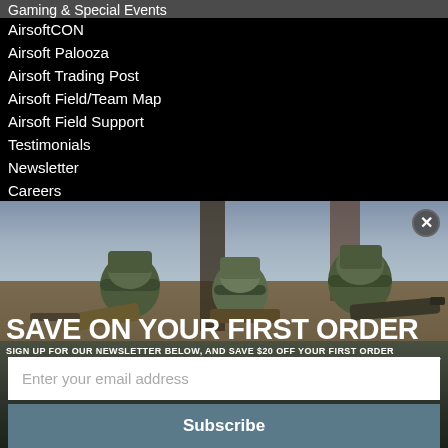Gaming & Special Events
AirsoftCON
Airsoft Palooza
Airsoft Trading Post
Airsoft Field/Team Map
Airsoft Field Support
Testimonials
Newsletter
Careers
[Figure (photo): Two soldiers/airsofters in camouflage gear and helmets aiming rifles, with a third person behind them, outdoor tactical setting with blue sky]
SAVE ON YOUR FIRST ORDER
SIGN UP FOR OUR NEWSLETTER BELOW, AND SAVE $20 OFF YOUR FIRST ORDER
EXCLUSIONS APPLY
Enter your email address
Subscribe